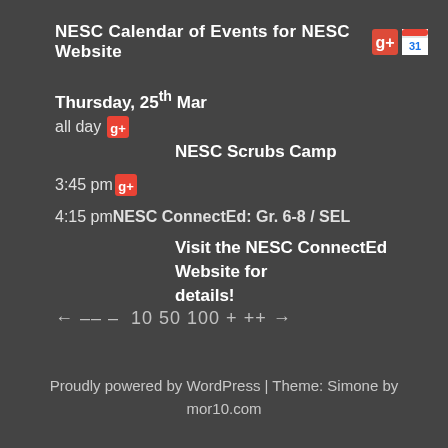NESC Calendar of Events for NESC Website
Thursday, 25th Mar
all day   NESC Scrubs Camp
3:45 pm
4:15 pm NESC ConnectEd: Gr. 6-8 / SEL   Visit the NESC ConnectEd Website for details!
← –– –  10 50 100 + ++ →
Proudly powered by WordPress | Theme: Simone by mor10.com